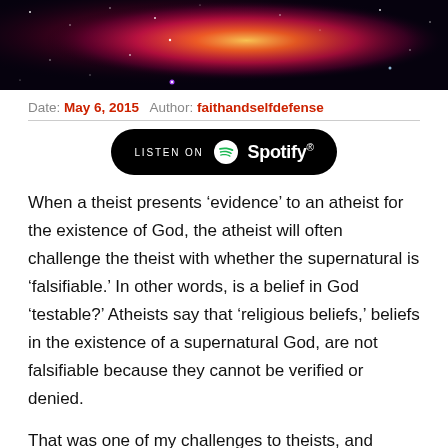[Figure (photo): Nebula or galaxy image with red and pink cosmic cloud against dark starry background]
Date: May 6, 2015   Author: faithandselfdefense
[Figure (logo): Spotify 'Listen on Spotify' button — black rounded rectangle with Spotify logo and text]
When a theist presents ‘evidence’ to an atheist for the existence of God, the atheist will often challenge the theist with whether the supernatural is ‘falsifiable.’ In other words, is a belief in God ‘testable?’ Atheists say that ‘religious beliefs,’ beliefs in the existence of a supernatural God, are not falsifiable because they cannot be verified or denied.
That was one of my challenges to theists, and Christians